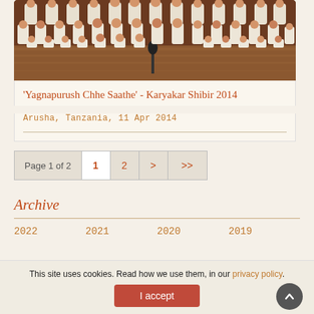[Figure (photo): Group photo of people dressed in white clothing seated in rows on a wooden stage, viewed from the front.]
'Yagnapurush Chhe Saathe' - Karyakar Shibir 2014
Arusha, Tanzania, 11 Apr 2014
Page 1 of 2  1  2  >  >>
Archive
2022  2021  2020  2019
This site uses cookies. Read how we use them, in our privacy policy.
I accept